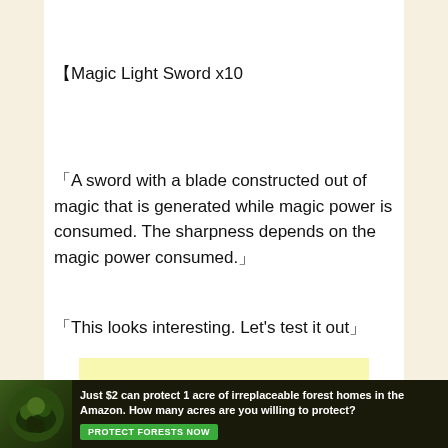【Magic Light Sword x10
「A sword with a blade constructed out of magic that is generated while magic power is consumed. The sharpness depends on the magic power consumed.」
「This looks interesting. Let's test it out」
[Figure (other): Yellow advertisement placeholder box]
[Figure (other): Dark green forest advertisement banner reading: Just $2 can protect 1 acre of irreplaceable forest homes in the Amazon. How many acres are you willing to protect? with a PROTECT FORESTS NOW button]